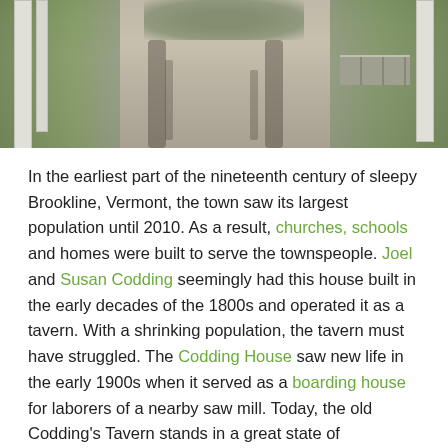[Figure (photo): A dirt road or driveway with two tire tracks, white fence posts on the left side, stone wall on the right, grass on both sides, leading into a wooded area.]
In the earliest part of the nineteenth century of sleepy Brookline, Vermont, the town saw its largest population until 2010. As a result, churches, schools and homes were built to serve the townspeople. Joel and Susan Codding seemingly had this house built in the early decades of the 1800s and operated it as a tavern. With a shrinking population, the tavern must have struggled. The Codding House saw new life in the early 1900s when it served as a boarding house for laborers of a nearby saw mill. Today, the old Codding's Tavern stands in a great state of preservation as an early home in rural Brookline, VT.
Federal Style, Windham County